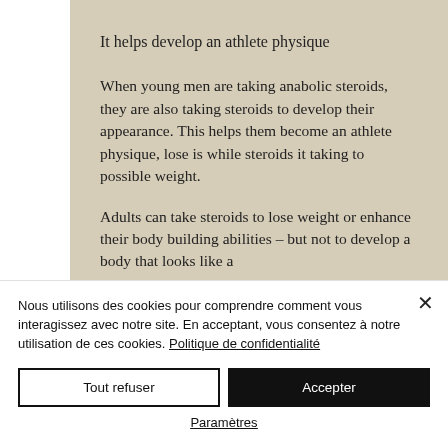It helps develop an athlete physique
When young men are taking anabolic steroids, they are also taking steroids to develop their appearance. This helps them become an athlete physique, lose is while steroids it taking to possible weight.
Adults can take steroids to lose weight or enhance their body building abilities – but not to develop a body that looks like a
Nous utilisons des cookies pour comprendre comment vous interagissez avec notre site. En acceptant, vous consentez à notre utilisation de ces cookies. Politique de confidentialité
Tout refuser
Accepter
Paramètres